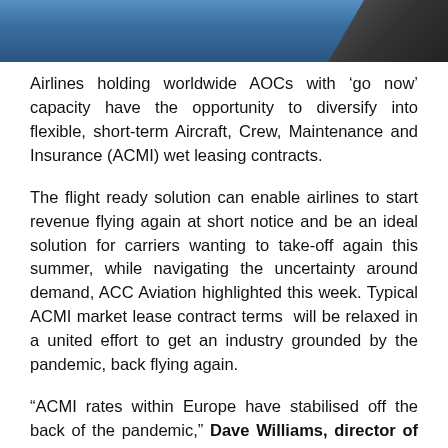[Figure (photo): Partial photo of an aircraft tail against blue sky, cropped at top of page]
Airlines holding worldwide AOCs with ‘go now’ capacity have the opportunity to diversify into flexible, short-term Aircraft, Crew, Maintenance and Insurance (ACMI) wet leasing contracts.
The flight ready solution can enable airlines to start revenue flying again at short notice and be an ideal solution for carriers wanting to take-off again this summer, while navigating the uncertainty around demand, ACC Aviation highlighted this week. Typical ACMI market lease contract terms  will be relaxed in a united effort to get an industry grounded by the pandemic, back flying again.
“ACMI rates within Europe have stabilised off the back of the pandemic,” Dave Williams, director of leasing at ACC Aviation noted. “ACMI solutions are cost-effective substitutes for an airline’s own fleet and resources as they